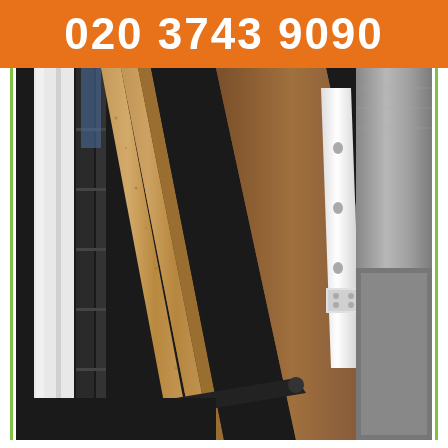020 3743 9090
[Figure (photo): Photo of various wooden panels, MDF boards, metal drawer slides, and furniture components piled together, likely items for removal or disposal. The boards are brown particleboard/cork material leaning against black metal furniture parts, with a white metal drawer rail visible on the right side.]